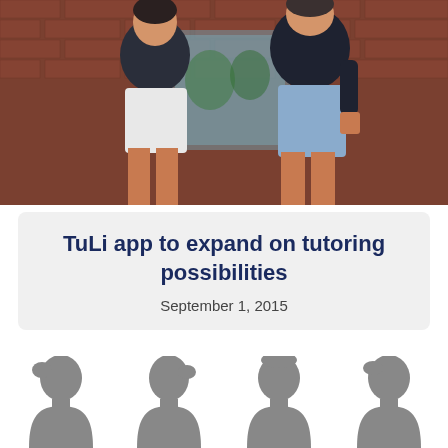[Figure (photo): Two young men standing outside in front of a brick building. The left person wears a dark shirt and white shorts; the right person wears a dark shirt and light blue shorts.]
TuLi app to expand on tutoring possibilities
September 1, 2015
[Figure (illustration): Four gray silhouette profile icons of human head and shoulders arranged in a row at the bottom of the page.]